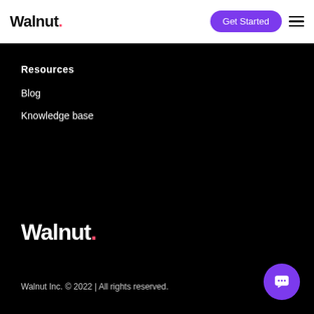Walnut. — Get Started navigation header
Resources
Blog
Knowledge base
[Figure (logo): Walnut. logo in white with pink dot on black background]
Walnut Inc. © 2022 | All rights reserved.